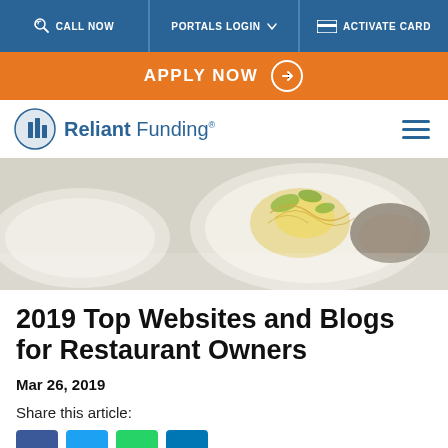CALL NOW | PORTALS LOGIN | ACTIVATE CARD
APPLY NOW →
[Figure (logo): Reliant Funding logo with blue building icon and text 'Reliant Funding']
[Figure (photo): Hero photo of restaurant food on white plates, top-down view with garnished dishes]
2019 Top Websites and Blogs for Restaurant Owners
Mar 26, 2019
Share this article: